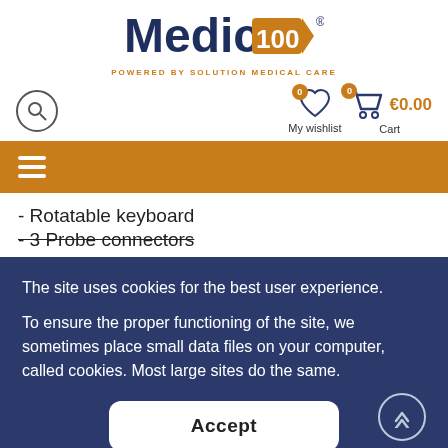[Figure (logo): Medica100 logo with 'POWERED BY SOLUTION MEDICAL CARE' tagline]
[Figure (infographic): Navigation bar with search icon, wishlist (0), cart (0, €0.00)]
[Figure (infographic): Orange navigation bar with hamburger menu icon]
- Rotatable keyboard
- 3 Probe connectors
The site uses cookies for the best user experience.
To ensure the proper functioning of the site, we sometimes place small data files on your computer, called cookies. Most large sites do the same.
Accept